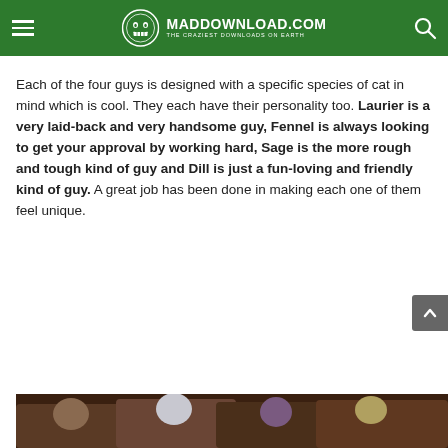MADDOWNLOAD.COM — THE CRAZIEST DOWNLOADS ON EARTH
Each of the four guys is designed with a specific species of cat in mind which is cool. They each have their personality too. Laurier is a very laid-back and very handsome guy, Fennel is always looking to get your approval by working hard, Sage is the more rough and tough kind of guy and Dill is just a fun-loving and friendly kind of guy. A great job has been done in making each one of them feel unique.
[Figure (illustration): Partial view of anime-style cat-boy characters at the bottom of the page]